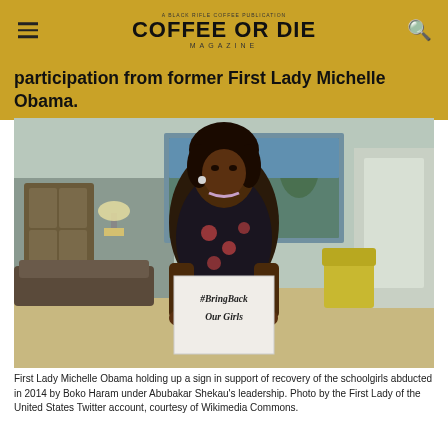COFFEE OR DIE MAGAZINE
participation from former First Lady Michelle Obama.
[Figure (photo): First Lady Michelle Obama holding up a sign reading '#BringBack Our Girls' in a room at the White House.]
First Lady Michelle Obama holding up a sign in support of recovery of the schoolgirls abducted in 2014 by Boko Haram under Abubakar Shekau's leadership. Photo by the First Lady of the United States Twitter account, courtesy of Wikimedia Commons.